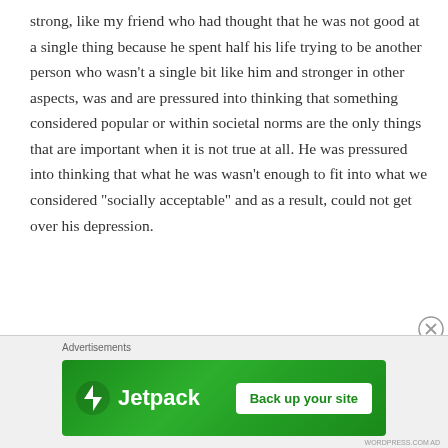strong, like my friend who had thought that he was not good at a single thing because he spent half his life trying to be another person who wasn’t a single bit like him and stronger in other aspects, was and are pressured into thinking that something considered popular or within societal norms are the only things that are important when it is not true at all. He was pressured into thinking that what he was wasn’t enough to fit into what we considered “socially acceptable” and as a result, could not get over his depression.
[Figure (other): Jetpack advertisement banner with green background showing Jetpack logo and 'Back up your site' button. Labeled 'Advertisements' above.]